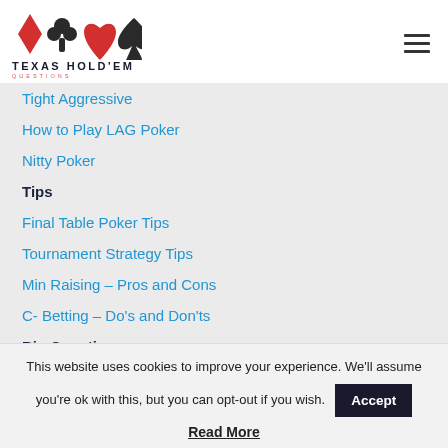[Figure (logo): Texas Hold'em Questions logo with four card suits (diamond red, club dark, heart red, spade dark) above bold text TEXAS HOLD'EM and smaller text QUESTIONS in red]
Tight Aggressive
How to Play LAG Poker
Nitty Poker
Tips
Final Table Poker Tips
Tournament Strategy Tips
Min Raising – Pros and Cons
C- Betting – Do's and Don'ts
Big Questions
Is Poker Gambling or Skill?
This website uses cookies to improve your experience. We'll assume you're ok with this, but you can opt-out if you wish.
Read More